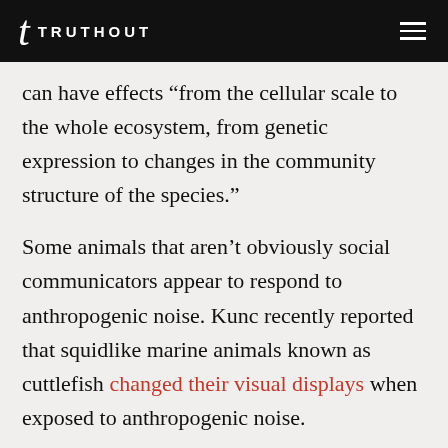TRUTHOUT
can have effects “from the cellular scale to the whole ecosystem, from genetic expression to changes in the community structure of the species.”
Some animals that aren’t obviously social communicators appear to respond to anthropogenic noise. Kunc recently reported that squidlike marine animals known as cuttlefish changed their visual displays when exposed to anthropogenic noise.
Though they’re able to pick up vibrations